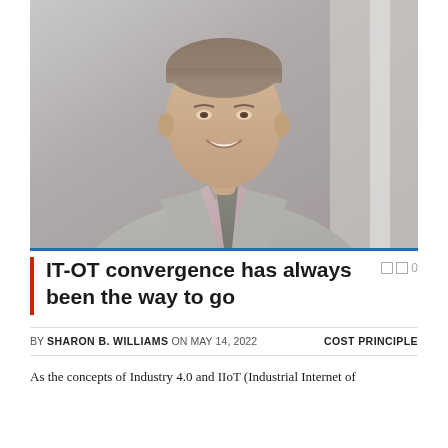[Figure (photo): Portrait photo of a man in a grey suit and grey patterned tie, smiling, with a blurred office background]
IT-OT convergence has always been the way to go
BY SHARON B. WILLIAMS ON MAY 14, 2022    COST PRINCIPLE
As the concepts of Industry 4.0 and IIoT (Industrial Internet of